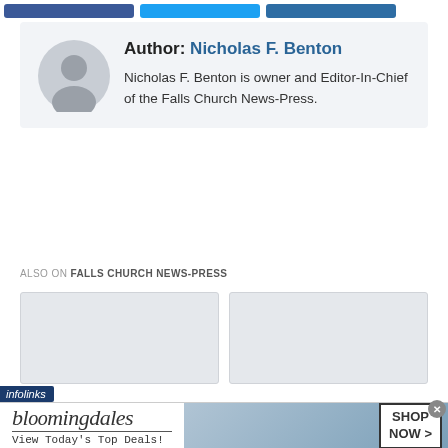[Social share buttons: Facebook, Twitter, LinkedIn]
Author: Nicholas F. Benton
Nicholas F. Benton is owner and Editor-In-Chief of the Falls Church News-Press.
ALSO ON FALLS CHURCH NEWS-PRESS
[Figure (other): Two placeholder content cards shown side by side]
[Figure (advertisement): Bloomingdale's advertisement: bloomingdales - View Today's Top Deals! with SHOP NOW > button and woman in hat image]